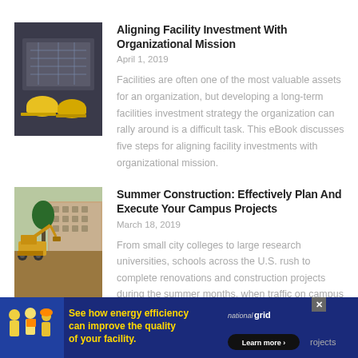[Figure (photo): Construction blueprints and yellow hard hats on a table]
Aligning Facility Investment With Organizational Mission
April 1, 2019
Facilities are often one of the most valuable assets for an organization, but developing a long-term facilities investment strategy the organization can rally around is a difficult task. This eBook discusses five steps for aligning facility investments with organizational mission.
[Figure (photo): Campus construction site with excavator and brick university buildings in background]
Summer Construction: Effectively Plan And Execute Your Campus Projects
March 18, 2019
From small city colleges to large research universities, schools across the U.S. rush to complete renovations and construction projects during the summer months, when traffic on campus is minimal. projects
[Figure (infographic): National Grid advertisement - See how energy efficiency can improve the quality of your facility. Learn more.]